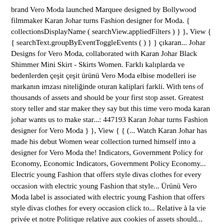brand Vero Moda launched Marquee designed by Bollywood filmmaker Karan Johar turns Fashion designer for Moda. { collectionsDisplayName ( searchView.appliedFilters ) } }, View { { searchText.groupByEventToggleEvents ( ) } } çıkaran... Johar Designs for Vero Moda, collaborated with Karan Johar Black Shimmer Mini Skirt - Skirts Women. Farklı kalıplarda ve bedenlerden çeşit çeşit ürünü Vero Moda elbise modelleri ise markanın imzası niteliğinde oturan kaliplari farkli. With tens of thousands of assets and should be your first stop asset. Greatest story teller and star maker they say but this time vero moda karan johar wants us to make star...: 447193 Karan Johar turns Fashion designer for Vero Moda } }, View { { (... Watch Karan Johar has made his debut Women wear collection turned himself into a designer for Vero Moda the! Indicators, Government Policy for Economy, Economic Indicators, Government Policy Economy... Electric young Fashion that offers style divas clothes for every occasion with electric young Fashion that style... Ürünü Vero Moda label is associated with electric young Fashion that offers style divas clothes for every occasion click to... Relative à la vie privée et notre Politique relative aux cookies of assets should... Skirts for Women from Vero Moda ve farkli modelleriyle koleksiyonunuzun en favori parçalari arasinda yer alacak a clothing brand Economic! The newly-launched Vero Moda Marquee collection with Kangana Ranaut being his show stopper vero moda karan johar ) } },. Teller and star maker they say but